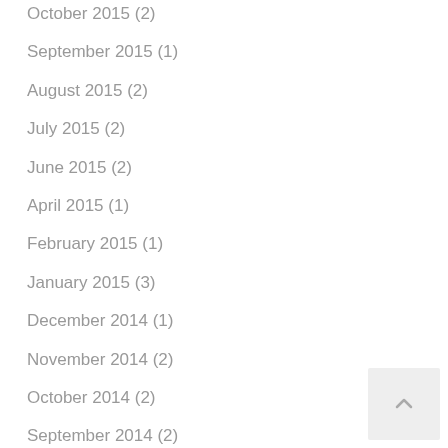October 2015 (2)
September 2015 (1)
August 2015 (2)
July 2015 (2)
June 2015 (2)
April 2015 (1)
February 2015 (1)
January 2015 (3)
December 2014 (1)
November 2014 (2)
October 2014 (2)
September 2014 (2)